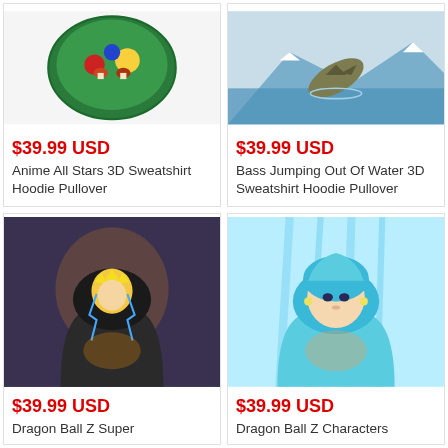[Figure (photo): Anime All Stars 3D hoodie sweatshirt with colorful anime characters on a round design]
$39.99 USD
Anime All Stars 3D Sweatshirt Hoodie Pullover
[Figure (photo): Bass Jumping Out Of Water 3D hoodie sweatshirt with scenic mountain lake background]
$39.99 USD
Bass Jumping Out Of Water 3D Sweatshirt Hoodie Pullover
[Figure (photo): Dragon Ball Z Super hoodie with a glowing Super Saiyan character with lightning effects]
$39.99 USD
Dragon Ball Z Super
[Figure (photo): Dragon Ball Z Characters hoodie with a blue-haired character in blue and white color scheme]
$39.99 USD
Dragon Ball Z Characters